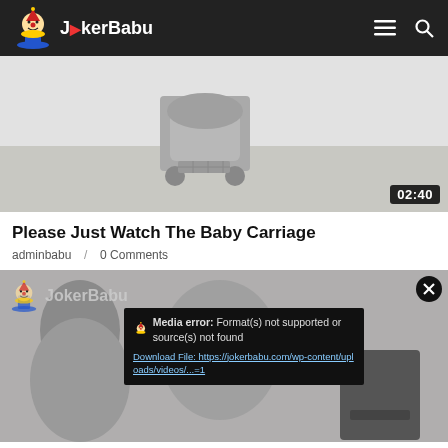JokerBabu
[Figure (screenshot): Video thumbnail showing a baby carriage/stroller on a beach scene with a duration badge showing 02:40]
Please Just Watch The Baby Carriage
adminbabu / 0 Comments
[Figure (screenshot): Second video thumbnail with JokerBabu watermark and a media error overlay showing: Media error: Format(s) not supported or source(s) not found. Download File: https://jokerbabu.com/wp-content/uploads/videos/...=1. A close (X) button is visible in the top right.]